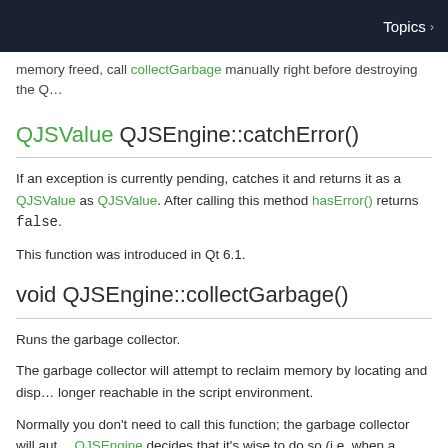Topics ›
memory freed, call collectGarbage manually right before destroying the Q…
QJSValue QJSEngine::catchError()
If an exception is currently pending, catches it and returns it as a QJSValue as QJSValue. After calling this method hasError() returns false.
This function was introduced in Qt 6.1.
void QJSEngine::collectGarbage()
Runs the garbage collector.
The garbage collector will attempt to reclaim memory by locating and disp… longer reachable in the script environment.
Normally you don't need to call this function; the garbage collector will aut… QJSEngine decides that it's wise to do so (i.e. when a certain number of m… However, you can call this function to explicitly request that garbage colle…